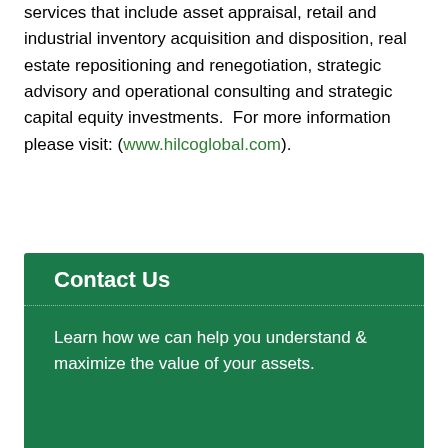services that include asset appraisal, retail and industrial inventory acquisition and disposition, real estate repositioning and renegotiation, strategic advisory and operational consulting and strategic capital equity investments.  For more information please visit: (www.hilcoglobal.com).
Contact Us
Learn how we can help you understand & maximize the value of your assets.